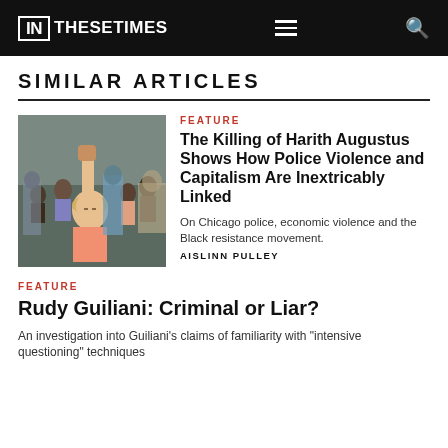IN THESE TIMES
SIMILAR ARTICLES
[Figure (photo): A woman with fist raised at a protest gathering, Black resistance movement]
FEATURE
The Killing of Harith Augustus Shows How Police Violence and Capitalism Are Inextricably Linked
On Chicago police, economic violence and the Black resistance movement.
AISLINN PULLEY
FEATURE
Rudy Guiliani: Criminal or Liar?
An investigation into Guiliani's claims of familiarity with "intensive questioning" techniques